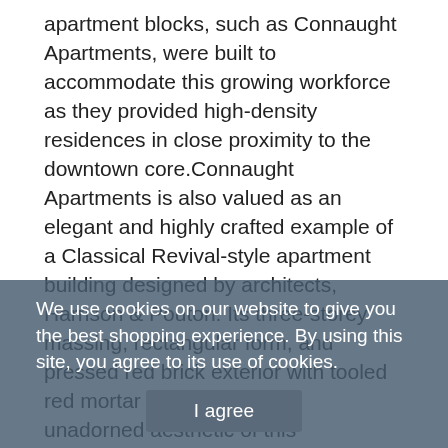apartment blocks, such as Connaught Apartments, were built to accommodate this growing workforce as they provided high-density residences in close proximity to the downtown core.Connaught Apartments is also valued as an elegant and highly crafted example of a Classical Revival-style apartment building designed by architects, Harrison & Pouton. Its three-storey massing, rectangular form, and pressed red brick exterior with tooled red mortar reflect the clean, unadorned aesthetic of this architectural style in the Edwardian period. The simplicity of Edwardian era architecture is in juxtaposition to the ornate and busy architectural detailing of the earlier Victorian period. Classical Revival architecture provided simple, balanced designs, straight rooflines, clean ornamentation, and, above all, maintenance-free elements. Connaught Apartments' architectural detailing is limited to the building's front façade and is characterised by its corbelled pressed-metal cornice, simplified but similar corbelled pressed-metal cornice at the front entry, triple assembly windows, plain sills and lintels, and dual
We use cookies on our website to give you the best shopping experience. By using this site, you agree to its use of cookies.
I agree